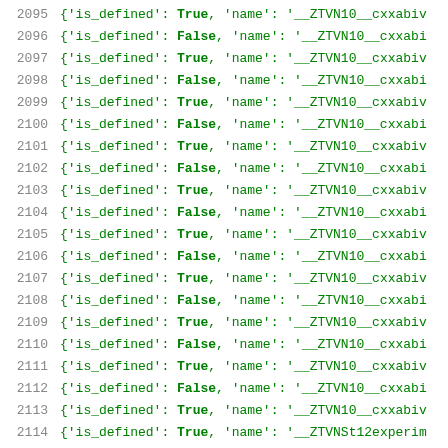2095  {'is_defined': True, 'name': '__ZTVN10__cxxabiv
2096  {'is_defined': False, 'name': '__ZTVN10__cxxabi
2097  {'is_defined': True, 'name': '__ZTVN10__cxxabiv
2098  {'is_defined': False, 'name': '__ZTVN10__cxxabi
2099  {'is_defined': True, 'name': '__ZTVN10__cxxabiv
2100  {'is_defined': False, 'name': '__ZTVN10__cxxabi
2101  {'is_defined': True, 'name': '__ZTVN10__cxxabiv
2102  {'is_defined': False, 'name': '__ZTVN10__cxxabi
2103  {'is_defined': True, 'name': '__ZTVN10__cxxabiv
2104  {'is_defined': False, 'name': '__ZTVN10__cxxabi
2105  {'is_defined': True, 'name': '__ZTVN10__cxxabiv
2106  {'is_defined': False, 'name': '__ZTVN10__cxxabi
2107  {'is_defined': True, 'name': '__ZTVN10__cxxabiv
2108  {'is_defined': False, 'name': '__ZTVN10__cxxabi
2109  {'is_defined': True, 'name': '__ZTVN10__cxxabiv
2110  {'is_defined': False, 'name': '__ZTVN10__cxxabi
2111  {'is_defined': True, 'name': '__ZTVN10__cxxabiv
2112  {'is_defined': False, 'name': '__ZTVN10__cxxabi
2113  {'is_defined': True, 'name': '__ZTVN10__cxxabiv
2114  {'is_defined': True, 'name': '__ZTVNSt12experim
2115  {'is_defined': True, 'name': '__ZTVNSt12experim